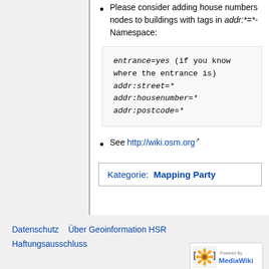Please consider adding house numbers nodes to buildings with tags in addr:*=*-Namespace:
entrance=yes (if you know where the entrance is)
addr:street=*
addr:housenumber=*
addr:postcode=*
See http://wiki.osm.org
Kategorie:  Mapping Party
Datenschutz   Über Geoinformation HSR
Haftungsausschluss